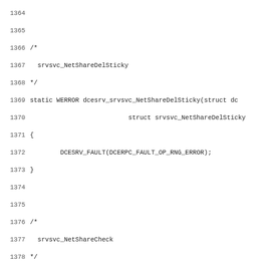Source code listing lines 1364-1395 showing C functions srvsvc_NetShareDelSticky and srvsvc_NetShareCheck